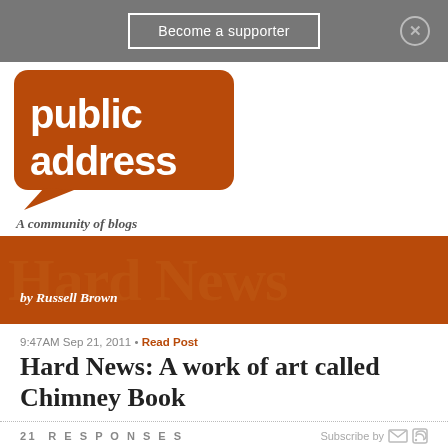Become a supporter
[Figure (logo): Public Address logo - orange speech bubble with white text 'public address' and tagline 'A community of blogs']
[Figure (logo): Hard News banner - orange/brown background with large watermark text 'Hard News' and byline 'by Russell Brown']
9:47AM Sep 21, 2011 • Read Post
Hard News: A work of art called Chimney Book
21 RESPONSES   Subscribe by
Lilith   10 years ago ∞